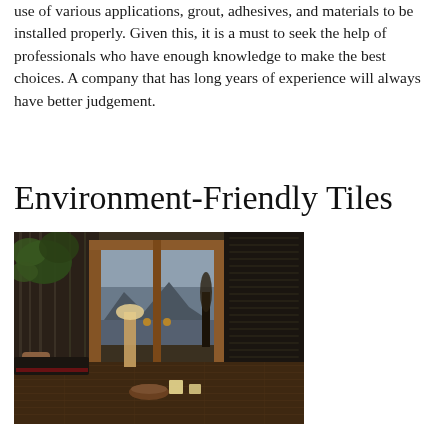use of various applications, grout, adhesives, and materials to be installed properly. Given this, it is a must to seek the help of professionals who have enough knowledge to make the best choices. A company that has long years of experience will always have better judgement.
Environment-Friendly Tiles
[Figure (photo): Interior room photo showing dark hardwood flooring, wooden framed sliding glass doors opening to a scenic lake/mountain view, a lamp, vase with plant, candles on the floor, and dark window blinds on the right side.]